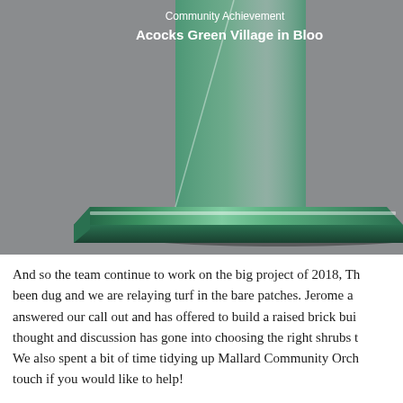[Figure (photo): Close-up photograph of a glass trophy/award on a grey background. The trophy has a green-tinted glass base and an upright panel. White engraved text on the trophy reads 'Community Achievement' and 'Acocks Green Village in Bloo' (partially visible).]
And so the team continue to work on the big project of 2018, Th... been dug and we are relaying turf in the bare patches. Jerome a... answered our call out and has offered to build a raised brick bui... thought and discussion has gone into choosing the right shrubs t... We also spent a bit of time tidying up Mallard Community Orch... touch if you would like to help!